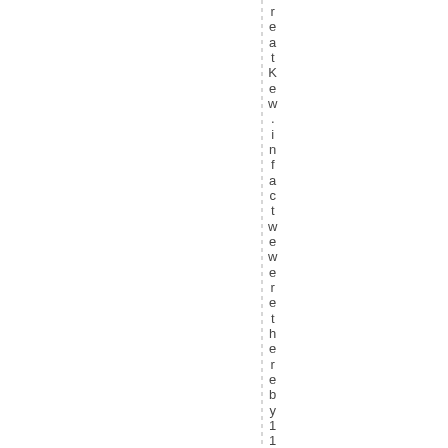reatKew.infact we were thereby114